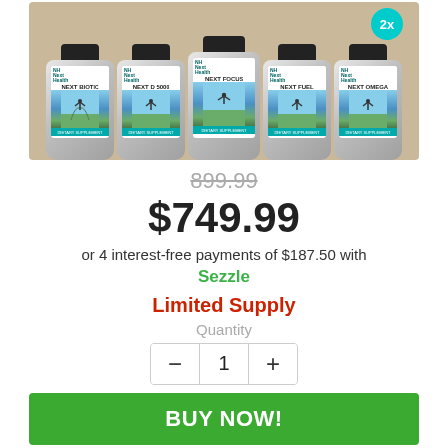[Figure (photo): Five supplement bottles from Next Health brand (Next Biotic, Next D 5000, Next Focus, Next Fuel, Next Omega) arranged in a row against a beige/tan background, with a teal '2x' badge in the upper right corner.]
899.99 (strikethrough original price)
$749.99
or 4 interest-free payments of $187.50 with Sezzle
Limited Supply
Quantity
1 (quantity selector with – and + buttons)
BUY NOW!